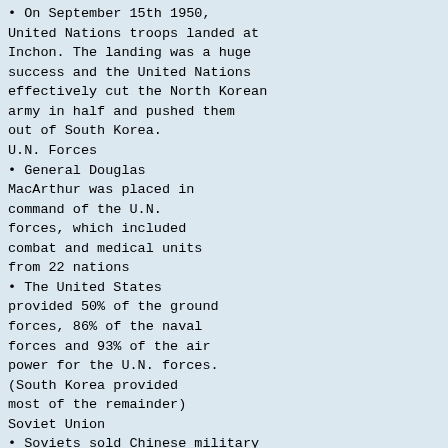On September 15th 1950, United Nations troops landed at Inchon. The landing was a huge success and the United Nations effectively cut the North Korean army in half and pushed them out of South Korea.
U.N. Forces
General Douglas MacArthur was placed in command of the U.N. forces, which included combat and medical units from 22 nations
The United States provided 50% of the ground forces, 86% of the naval forces and 93% of the air power for the U.N. forces. (South Korea provided most of the remainder)
Soviet Union
Soviets sold Chinese military equipment, including artillery and MIG fighter planes.
The USSR also provided advisers and military hardware to the North Koreans.
Soviet pilots flew MIGs against US planes.
However, Stalin was unwilling to become involved with the United States in a war over